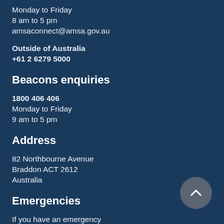Monday to Friday
8 am to 5 pm
amsaconnect@amsa.gov.au
Outside of Australia
+61 2 6279 5000
Beacons enquiries
1800 406 406
Monday to Friday
9 am to 5 pm
Address
82 Northbourne Avenue
Braddon ACT 2612
Australia
Emergencies
If you have an emergency in Australia dial 000 or 112 (satellite phone)
For search and rescue services call our 24-hour contact numbers:
Maritime